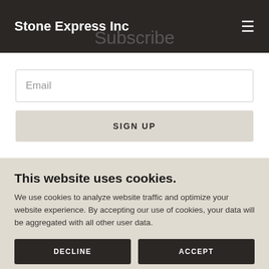Stone Express Inc
Subscribe
Email
SIGN UP
This website uses cookies.
We use cookies to analyze website traffic and optimize your website experience. By accepting our use of cookies, your data will be aggregated with all other user data.
DECLINE
ACCEPT